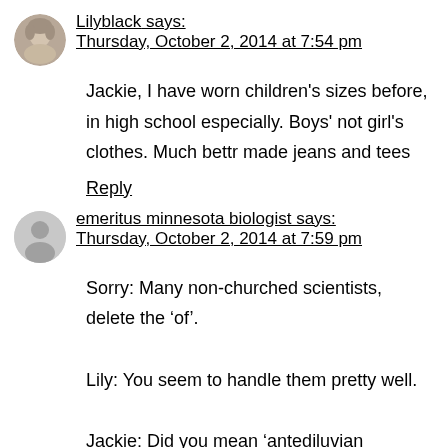Lilyblack says:
Thursday, October 2, 2014 at 7:54 pm
Jackie, I have worn children's sizes before, in high school especially. Boys' not girl's clothes. Much bettr made jeans and tees
Reply
emeritus minnesota biologist says:
Thursday, October 2, 2014 at 7:59 pm
Sorry: Many non-churched scientists, delete the ‘of’.

Lily: You seem to handle them pretty well.

Jackie: Did you mean ‘antediluvian